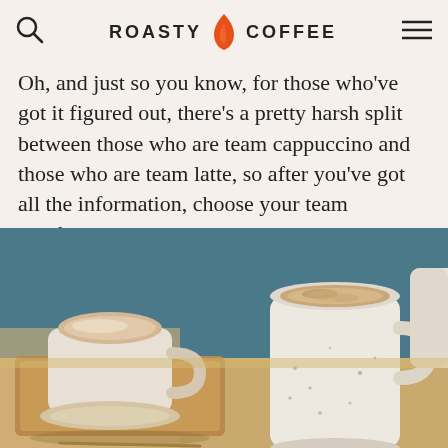ROASTY COFFEE
Oh, and just so you know, for those who've got it figured out, there's a pretty harsh split between those who are team cappuccino and those who are team latte, so after you've got all the information, choose your team carefully.
[Figure (photo): Two speckled ceramic mugs with cappuccino/latte drinks on a wooden tray, set against a teal/blue background. A third mug is partially visible on the right.]